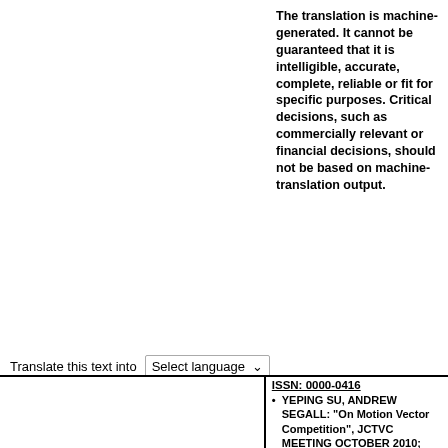The translation is machine-generated. It cannot be guaranteed that it is intelligible, accurate, complete, reliable or fit for specific purposes. Critical decisions, such as commercially relevant or financial decisions, should not be based on machine-translation output.
Translate this text into
[Figure (logo): patenttranslate logo - red box with arrows icon and text 'patenttranslate powered by EPO and Google']
ISSN: 0000-0416
YEPING SU, ANDREW SEGALL: "On Motion Vector Competition", JCTVC MEETING OCTOBER 2010; URL: HTTP://WFTP3.ITU.INT/AV-